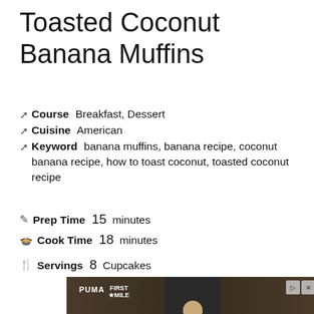Toasted Coconut Banana Muffins
Course: Breakfast, Dessert
Cuisine: American
Keyword: banana muffins, banana recipe, coconut banana recipe, how to toast coconut, toasted coconut recipe
Prep Time: 15 minutes
Cook Time: 18 minutes
Servings: 8 Cupcakes
[Figure (photo): Advertisement image showing a man jogging in an urban setting with Puma and First Mile branding]